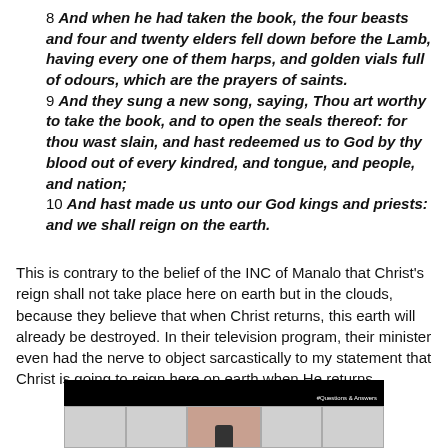8 And when he had taken the book, the four beasts and four and twenty elders fell down before the Lamb, having every one of them harps, and golden vials full of odours, which are the prayers of saints. 9 And they sung a new song, saying, Thou art worthy to take the book, and to open the seals thereof: for thou wast slain, and hast redeemed us to God by thy blood out of every kindred, and tongue, and people, and nation; 10 And hast made us unto our God kings and priests: and we shall reign on the earth.
This is contrary to the belief of the INC of Manalo that Christ's reign shall not take place here on earth but in the clouds, because they believe that when Christ returns, this earth will already be destroyed. In their television program, their minister even had the nerve to object sarcastically to my statement that Christ is going to reign here on earth when He returns.
[Figure (screenshot): A screenshot thumbnail with a black top bar and a grid of gray panels with a central pinkish-tan panel showing a dark figure, and overlay text in the corner.]